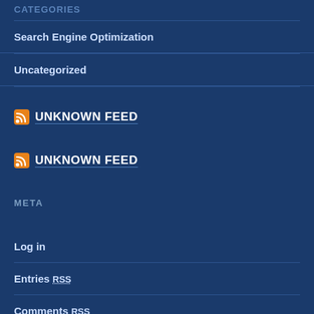CATEGORIES
Search Engine Optimization
Uncategorized
UNKNOWN FEED
UNKNOWN FEED
META
Log in
Entries RSS
Comments RSS